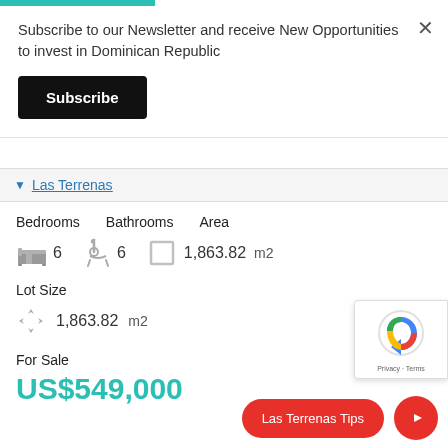Subscribe to our Newsletter and receive New Opportunities to invest in Dominican Republic
Subscribe
Las Terrenas
Bedrooms  Bathrooms  Area
6  6  1,863.82  m2
Lot Size
1,863.82  m2
For Sale
US$549,000
Las Terrenas Tips